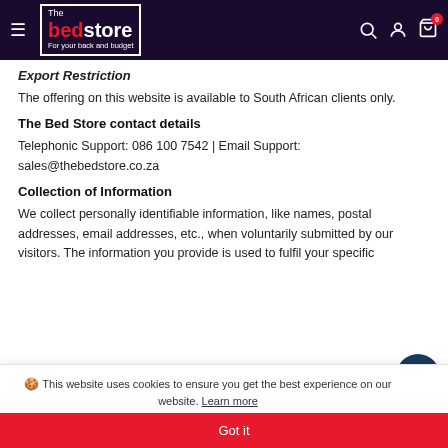The Bed Store — For your back and budget
Export Restriction
The offering on this website is available to South African clients only.
The Bed Store contact details
Telephonic Support: 086 100 7542 | Email Support: sales@thebedstore.co.za
Collection of Information
We collect personally identifiable information, like names, postal addresses, email addresses, etc., when voluntarily submitted by our visitors. The information you provide is used to fulfil your specific
🍪 This website uses cookies to ensure you get the best experience on our website. Learn more
Got it